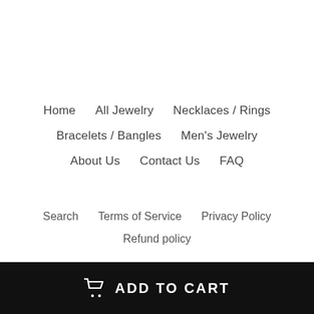Home    All Jewelry    Necklaces / Rings
Bracelets / Bangles    Men's Jewelry
About Us    Contact Us    FAQ
Search    Terms of Service    Privacy Policy
Refund policy
ADD TO CART